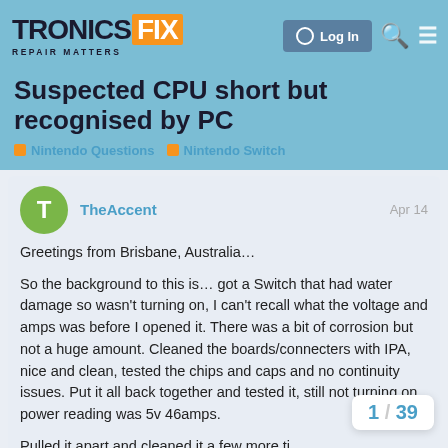TRONICSFIX - REPAIR MATTERS
Suspected CPU short but recognised by PC
Nintendo Questions  Nintendo Switch
TheAccent  Apr 14
Greetings from Brisbane, Australia…
So the background to this is… got a Switch that had water damage so wasn't turning on, I can't recall what the voltage and amps was before I opened it. There was a bit of corrosion but not a huge amount. Cleaned the boards/connecters with IPA, nice and clean, tested the chips and caps and no continuity issues. Put it all back together and tested it, still not turning on, power reading was 5v 46amps.
Pulled it apart and cleaned it a few more ti
Then I saw one of Steves videos where he
liqu id l...
1 / 39